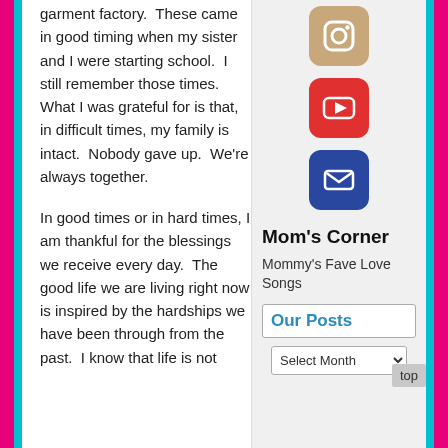garment factory.  These came in good timing when my sister and I were starting school.  I still remember those times.  What I was grateful for is that, in difficult times, my family is intact.  Nobody gave up.  We're always together.
In good times or in hard times, I am thankful for the blessings we receive every day.  The good life we are living right now is inspired by the hardships we have been through from the past.  I know that life is not
[Figure (logo): Instagram icon - rounded square tan/brown background with camera symbol]
[Figure (logo): YouTube icon - rounded square red background with play button]
[Figure (logo): Email icon - rounded square dark blue background with envelope]
Mom's Corner
Mommy's Fave Love Songs
Our Posts
Select Month